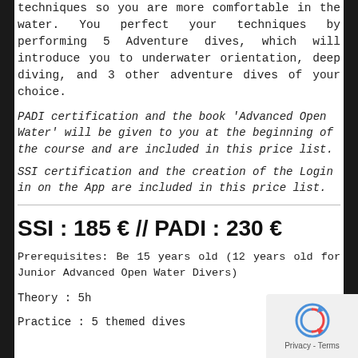techniques so you are more comfortable in the water. You perfect your techniques by performing 5 Adventure dives, which will introduce you to underwater orientation, deep diving, and 3 other adventure dives of your choice.
PADI certification and the book 'Advanced Open Water' will be given to you at the beginning of the course and are included in this price list.
SSI certification and the creation of the Login in on the App are included in this price list.
SSI : 185 € // PADI : 230 €
Prerequisites: Be 15 years old (12 years old for Junior Advanced Open Water Divers)
Theory : 5h
Practice : 5 themed dives